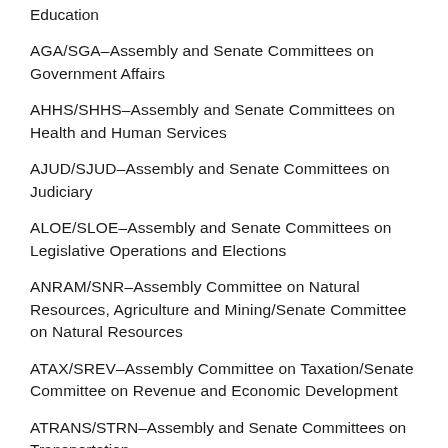Education
AGA/SGA–Assembly and Senate Committees on Government Affairs
AHHS/SHHS–Assembly and Senate Committees on Health and Human Services
AJUD/SJUD–Assembly and Senate Committees on Judiciary
ALOE/SLOE–Assembly and Senate Committees on Legislative Operations and Elections
ANRAM/SNR–Assembly Committee on Natural Resources, Agriculture and Mining/Senate Committee on Natural Resources
ATAX/SREV–Assembly Committee on Taxation/Senate Committee on Revenue and Economic Development
ATRANS/STRN–Assembly and Senate Committees on Transportation